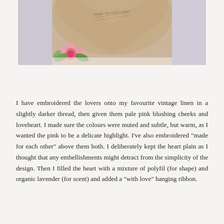[Figure (photo): Close-up photo of a heart-shaped burlap/linen sachet with embroidered text at the top, decorated with pink roses and green leaves fabric trim along the bottom edge, against a light lavender/white background.]
I have embroidered the lovers onto my favourite vintage linen in a slightly darker thread, then given them pale pink blushing cheeks and loveheart. I made sure the colours were muted and subtle, but warm, as I wanted the pink to be a delicate highlight. I’ve also embroidered “made for each other” above them both. I deliberately kept the heart plain as I thought that any embellishments might detract from the simplicity of the design. Then I filled the heart with a mixture of polyfil (for shape) and organic lavender (for scent) and added a “with love” hanging ribbon.